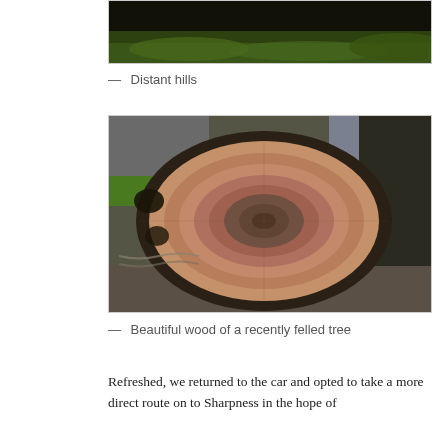[Figure (photo): Partial view of distant hills with grass in foreground, dark background at top]
— Distant hills
[Figure (photo): Close-up cross-section of a recently felled tree showing wood grain rings, pinkish-brown tones, surrounded by bark and outdoor scenery]
— Beautiful wood of a recently felled tree
Refreshed, we returned to the car and opted to take a more direct route on to Sharpness in the hope of